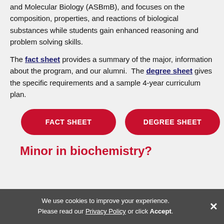and Molecular Biology (ASBmB), and focuses on the composition, properties, and reactions of biological substances while students gain enhanced reasoning and problem solving skills.
The fact sheet provides a summary of the major, information about the program, and our alumni. The degree sheet gives the specific requirements and a sample 4-year curriculum plan.
[Figure (other): Two red pill-shaped buttons labeled FACT SHEET and DEGREE SHEET]
Minor in biochemistry?
We use cookies to improve your experience. Please read our Privacy Policy or click Accept.